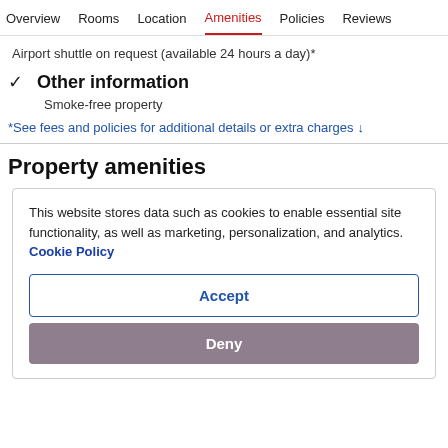Overview  Rooms  Location  Amenities  Policies  Reviews
Airport shuttle on request (available 24 hours a day)*
✓  Other information
Smoke-free property
*See fees and policies for additional details or extra charges ↓
Property amenities
This website stores data such as cookies to enable essential site functionality, as well as marketing, personalization, and analytics. Cookie Policy
Accept
Deny